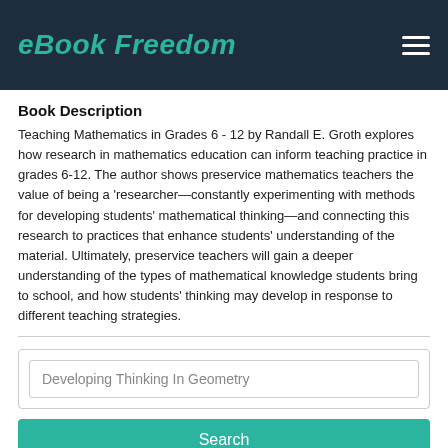eBook Freedom
Book Description
Teaching Mathematics in Grades 6 - 12 by Randall E. Groth explores how research in mathematics education can inform teaching practice in grades 6-12. The author shows preservice mathematics teachers the value of being a 'researcher—constantly experimenting with methods for developing students' mathematical thinking—and connecting this research to practices that enhance students' understanding of the material. Ultimately, preservice teachers will gain a deeper understanding of the types of mathematical knowledge students bring to school, and how students' thinking may develop in response to different teaching strategies.
Developing Thinking In Geometry
Search